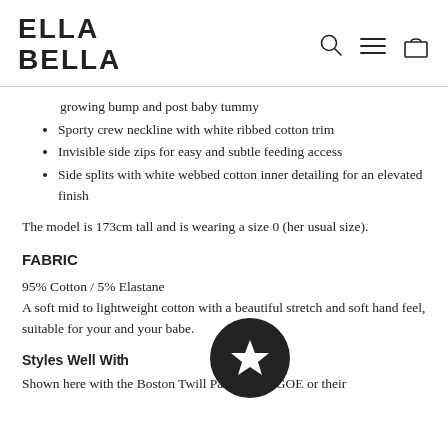ELLA BELLA
growing bump and post baby tummy
Sporty crew neckline with white ribbed cotton trim
Invisible side zips for easy and subtle feeding access
Side splits with white webbed cotton inner detailing for an elevated finish
The model is 173cm tall and is wearing a size 0 (her usual size).
FABRIC
95% Cotton / 5% Elastane
A soft mid to lightweight cotton with a beautiful stretch and soft hand feel, suitable for your and your babe.
Styles Well Wi...
Shown here with the Boston Twill Pants by LEGOE or their